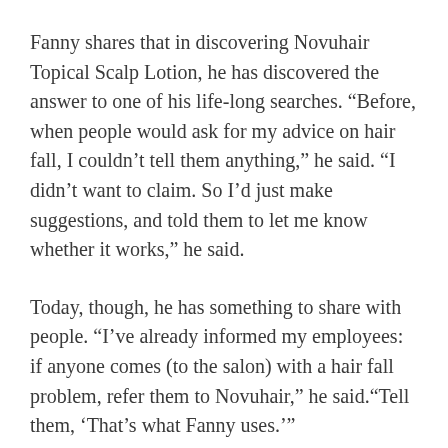Fanny shares that in discovering Novuhair Topical Scalp Lotion, he has discovered the answer to one of his life-long searches. “Before, when people would ask for my advice on hair fall, I couldn’t tell them anything,” he said. “I didn’t want to claim. So I’d just make suggestions, and told them to let me know whether it works,” he said.
Today, though, he has something to share with people. “I’ve already informed my employees: if anyone comes (to the salon) with a hair fall problem, refer them to Novuhair,” he said.“Tell them, ‘That’s what Fanny uses.’”
“Now I don’t just say, you know, just try it. I tell them myself. I say, try it,” said Fanny. “And I find it easy convincing people. Why? Because I was convinced.”